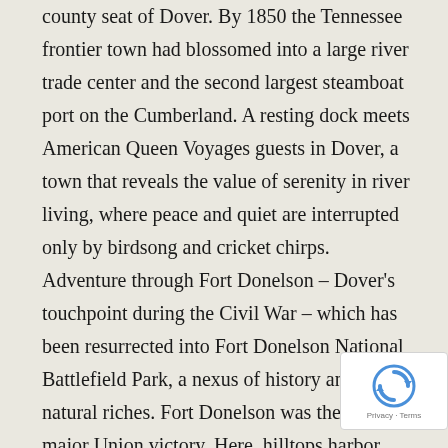county seat of Dover. By 1850 the Tennessee frontier town had blossomed into a large river trade center and the second largest steamboat port on the Cumberland. A resting dock meets American Queen Voyages guests in Dover, a town that reveals the value of serenity in river living, where peace and quiet are interrupted only by birdsong and cricket chirps. Adventure through Fort Donelson – Dover's touchpoint during the Civil War – which has been resurrected into Fort Donelson National Battlefield Park, a nexus of history and natural riches. Fort Donelson was the site of a major Union victory. Here, hilltops harbor somber stories, country roads lose themselves in golden horizons and historic treasures are kept